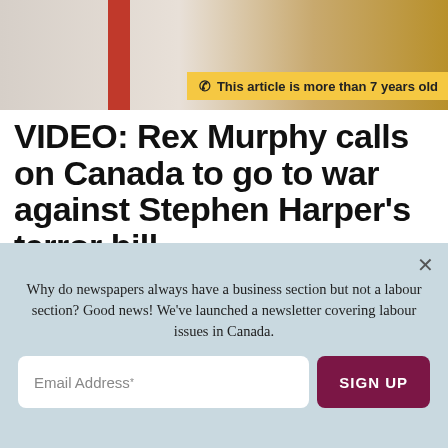[Figure (photo): Partial background photo showing a person in a white shirt with a red element and another person in a yellow/gold jacket, cropped at top of page]
This article is more than 7 years old
VIDEO: Rex Murphy calls on Canada to go to war against Stephen Harper's terror bill
And they will say that this was Rex Murphy's finest hour. The CBC freelancer just issued the nation its ultimate call to
Why do newspapers always have a business section but not a labour section? Good news! We've launched a newsletter covering labour issues in Canada.
Email Address*
SIGN UP